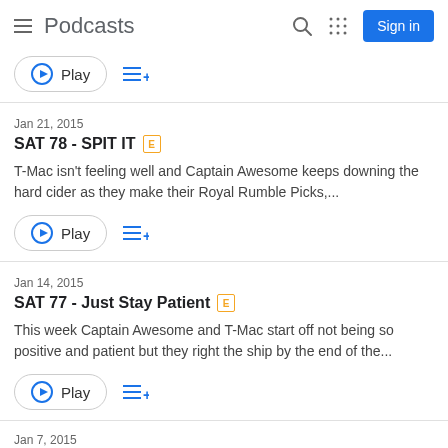Podcasts
Jan 21, 2015
SAT 78 - SPIT IT [E]
T-Mac isn't feeling well and Captain Awesome keeps downing the hard cider as they make their Royal Rumble Picks,...
Jan 14, 2015
SAT 77 - Just Stay Patient [E]
This week Captain Awesome and T-Mac start off not being so positive and patient but they right the ship by the end of the...
Jan 7, 2015